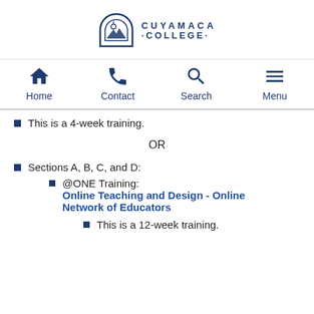[Figure (logo): Cuyamaca College logo with arch icon and text CUYAMACA COLLEGE]
Home | Contact | Search | Menu
This is a 4-week training.
OR
Sections A, B, C, and D:
@ONE Training: Online Teaching and Design - Online Network of Educators
This is a 12-week training.